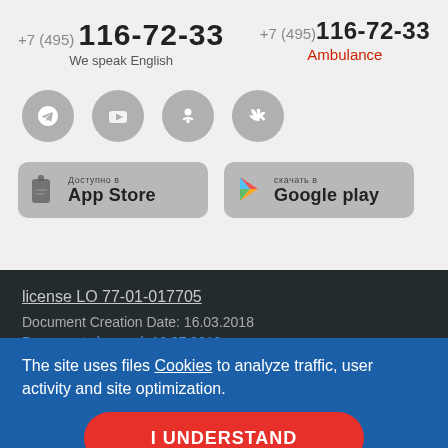+7 (495) 116-72-33 We speak English
+7 (495) 116-72-33 Ambulance
[Figure (other): Social media icons: Telegram, YouTube, Odnoklassniki, VKontakte — grey circles]
[Figure (other): App Store download button]
[Figure (other): Google Play download button]
license LO 77-01-017705
Document Creation Date: 16.03.2018
Document changed: 16.07.2019
Legal information
We remind you that ... 'specialists' cannot be considered ... is f
The site uses files Cookies to analyze traffic, user activity and site optimization.
I UNDERSTAND